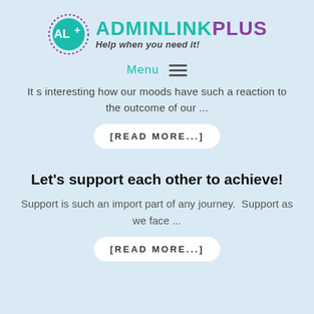[Figure (logo): AdminLinkPlus logo with teal/purple AL+ icon and text saying ADMINLINKPLUS Help when you need it!]
Menu ≡
It s interesting how our moods have such a reaction to the outcome of our ...
[READ MORE...]
Let's support each other to achieve!
Support is such an import part of any journey. Support as we face ...
[READ MORE...]